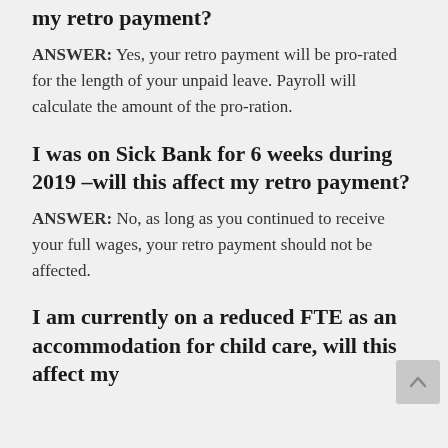my retro payment?
ANSWER: Yes, your retro payment will be pro-rated for the length of your unpaid leave. Payroll will calculate the amount of the pro-ration.
I was on Sick Bank for 6 weeks during 2019 –will this affect my retro payment?
ANSWER: No, as long as you continued to receive your full wages, your retro payment should not be affected.
I am currently on a reduced FTE as an accommodation for child care, will this affect my